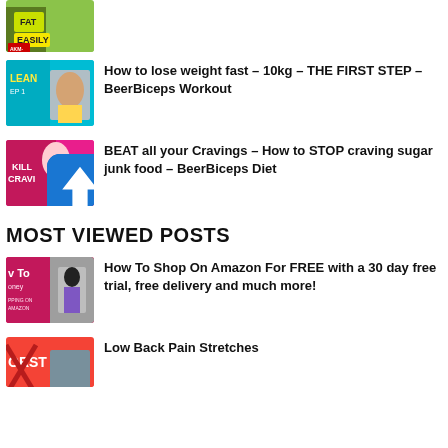[Figure (screenshot): Thumbnail with FAT EASILY text and AKM-EWS logo - partially visible at top]
[Figure (screenshot): Thumbnail showing lean man with LEAN EP 1 text]
How to lose weight fast – 10kg – THE FIRST STEP – BeerBiceps Workout
[Figure (screenshot): Thumbnail with KILL CRAVINGS text and blue upload/arrow icon overlay]
BEAT all your Cravings – How to STOP craving sugar junk food – BeerBiceps Diet
MOST VIEWED POSTS
[Figure (screenshot): Thumbnail with How To text and Amazon shopping image]
How To Shop On Amazon For FREE with a 30 day free trial, free delivery and much more!
[Figure (screenshot): Thumbnail with ORST text and person in red X image]
Low Back Pain Stretches